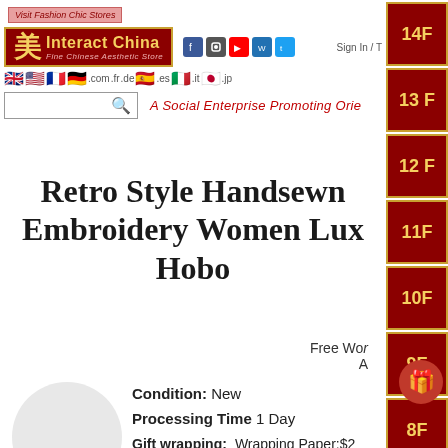[Figure (screenshot): Interact China website header with logo, flag icons, search box, and social media icons]
Retro Style Handsewn Embroidery Women Lux Hobo
Free Wor
A
Condition: New
Processing Time 1 Day
Gift wrapping: Wrapping Paper:$2
Gift Card:$0